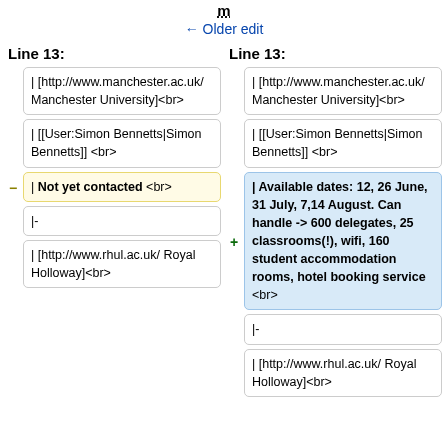m
← Older edit
Line 13:
Line 13:
| [http://www.manchester.ac.uk/ Manchester University]<br>
| [http://www.manchester.ac.uk/ Manchester University]<br>
| [[User:Simon Bennetts|Simon Bennetts]] <br>
| [[User:Simon Bennetts|Simon Bennetts]] <br>
| Not yet contacted <br>
| Available dates: 12, 26 June, 31 July, 7,14 August. Can handle -> 600 delegates, 25 classrooms(!), wifi, 160 student accommodation rooms, hotel booking service <br>
|-
|-
| [http://www.rhul.ac.uk/ Royal Holloway]<br>
| [http://www.rhul.ac.uk/ Royal Holloway]<br>